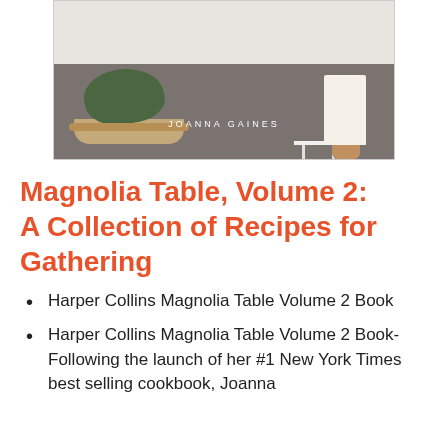[Figure (photo): Book cover of Magnolia Table Volume 2 by Joanna Gaines, showing a person's lower body in a cream dress near a white stool, with green plants and a wicker basket on a dark floor. The author name JOANNA GAINES is overlaid in white text.]
Magnolia Table, Volume 2: A Collection of Recipes for Gathering
Harper Collins Magnolia Table Volume 2 Book
Harper Collins Magnolia Table Volume 2 Book- Following the launch of her #1 New York Times best selling cookbook, Joanna